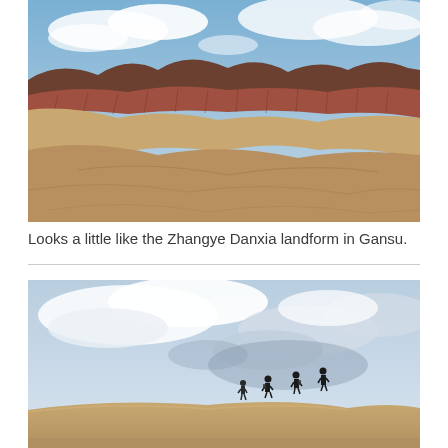[Figure (photo): Landscape photograph of eroded desert badlands terrain with layered reddish-brown and tan rock formations under a partly cloudy blue sky, resembling the Zhangye Danxia landform in Gansu, China.]
Looks a little like the Zhangye Danxia landform in Gansu.
[Figure (photo): Photograph of hikers climbing a sandy ridge in a desert landscape under a wide, partly cloudy sky. Four silhouetted figures are visible ascending a slope.]